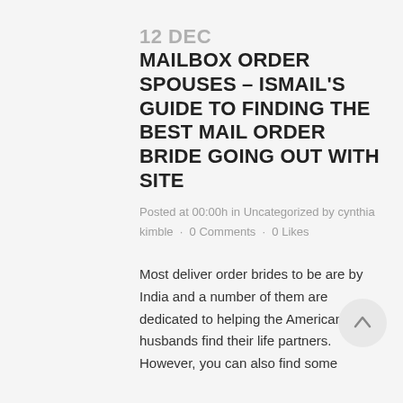12 DEC MAILBOX ORDER SPOUSES – ISMAIL'S GUIDE TO FINDING THE BEST MAIL ORDER BRIDE GOING OUT WITH SITE
Posted at 00:00h in Uncategorized by cynthia kimble · 0 Comments · 0 Likes
Most deliver order brides to be are by India and a number of them are dedicated to helping the American husbands find their life partners. However, you can also find some